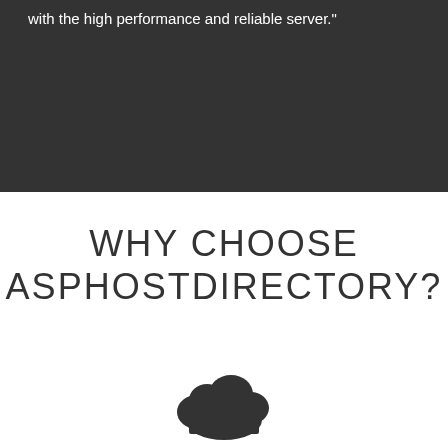with the high performance and reliable server."
WHY CHOOSE ASPHOSTDIRECTORY?
[Figure (illustration): Cloud icon — dark gray filled cloud shape]